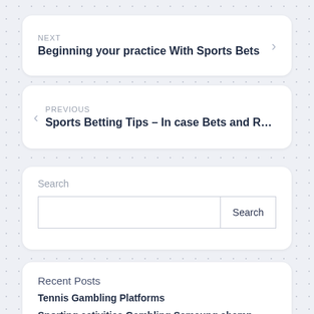NEXT
Beginning your practice With Sports Bets
PREVIOUS
Sports Betting Tips – In case Bets and R...
Search
Recent Posts
Tennis Gambling Platforms
Sporting activities Gambling Samsung champ
c3300k Evaluate About Charges